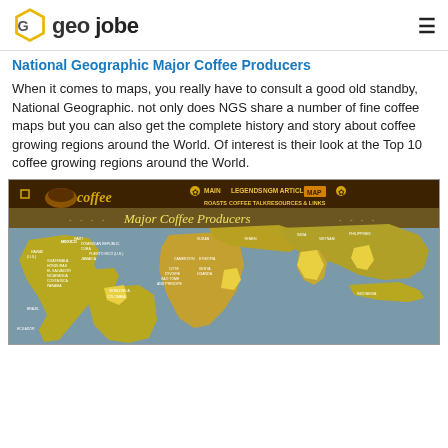geo jobe
National Geographic Major Coffee Producers
When it comes to maps, you really have to consult a good old standby, National Geographic. not only does NGS share a number of fine coffee maps but you can also get the complete history and story about coffee growing regions around the World. Of interest is their look at the Top 10 coffee growing regions around the World.
[Figure (screenshot): Screenshot of National Geographic coffee website showing Major Coffee Producers map with world map highlighting coffee growing regions. Top navigation shows: MAIN LEGENDS NGM ARTICLE MAP (active) and sub-nav: ROASTS COFFEE TALK RESOURCES & LINKS. Map shows countries labeled including Mexico, Guatemala, Honduras, El Salvador, Nicaragua, Costa Rica, Panama, Colombia, Ecuador, Venezuela, Cuba, Jamaica, Haiti, Dominican Republic, Puerto Rico, Cameroon, Cote D'Ivoire, Sao Tome and Principe, Sudan, Ethiopia, Kenya, Uganda, India, Yemen, Vietnam, Philippines, Indonesia.]